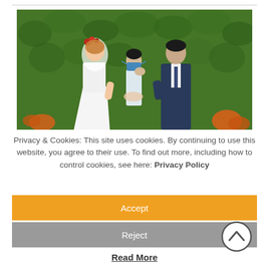[Figure (photo): Wedding ceremony photo: a bride in a white dress and veil with red flowers in her hair stands across from a groom in a dark suit, holding hands. An officiant wearing a blue face mask stands between them. Background is a dense green hedge.]
Privacy & Cookies: This site uses cookies. By continuing to use this website, you agree to their use. To find out more, including how to control cookies, see here: Privacy Policy
Accept
Reject
Read More